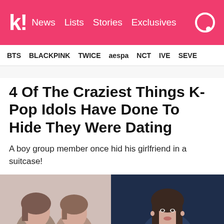k! News Lists Stories Exclusives
BTS BLACKPINK TWICE aespa NCT IVE SEVE
4 Of The Craziest Things K-Pop Idols Have Done To Hide They Were Dating
A boy group member once hid his girlfriend in a suitcase!
[Figure (photo): Two photos side by side: left photo shows two people with short hair against a light background; right photo shows a young woman with long dark hair against a dark blue background.]